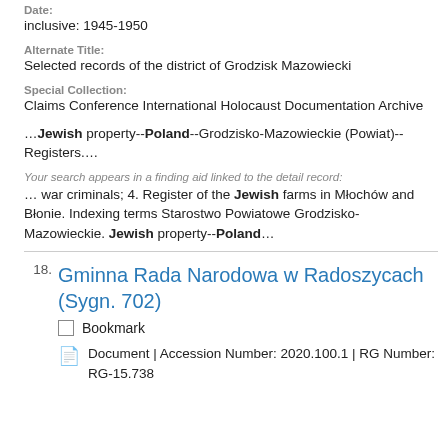Date:
inclusive: 1945-1950
Alternate Title:
Selected records of the district of Grodzisk Mazowiecki
Special Collection:
Claims Conference International Holocaust Documentation Archive
…Jewish property--Poland--Grodzisko-Mazowieckie (Powiat)--Registers.…
Your search appears in a finding aid linked to the detail record:
… war criminals; 4. Register of the Jewish farms in Młochów and Błonie. Indexing terms Starostwo Powiatowe Grodzisko-Mazowieckie. Jewish property--Poland…
18. Gminna Rada Narodowa w Radoszycach (Sygn. 702)
Bookmark
Document | Accession Number: 2020.100.1 | RG Number: RG-15.738